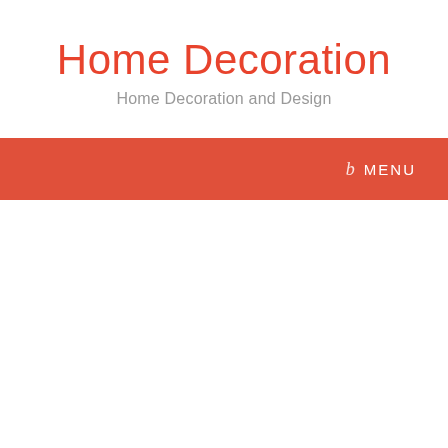Home Decoration
Home Decoration and Design
b  MENU